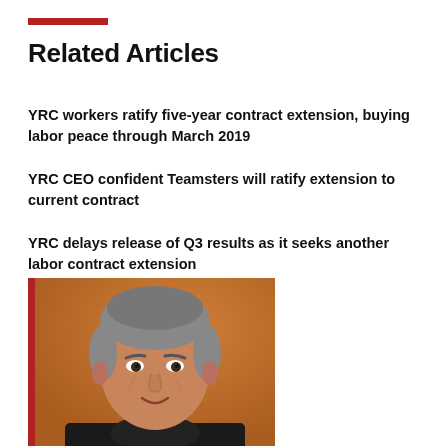Related Articles
YRC workers ratify five-year contract extension, buying labor peace through March 2019
YRC CEO confident Teamsters will ratify extension to current contract
YRC delays release of Q3 results as it seeks another labor contract extension
[Figure (photo): Portrait photo of a middle-aged man with short grey hair, smiling slightly, wearing a dark turtleneck, set against an orange/brown background]